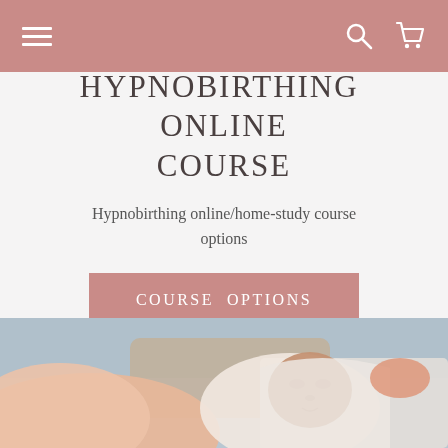Navigation bar with hamburger menu, search icon, and cart icon
HYPNOBIRTHING ONLINE COURSE
Hypnobirthing online/home-study course options
COURSE OPTIONS
[Figure (photo): Close-up photo of a mother and newborn baby, with a blurred background. The baby is wrapped in a white cloth and the mother is visible in the foreground.]